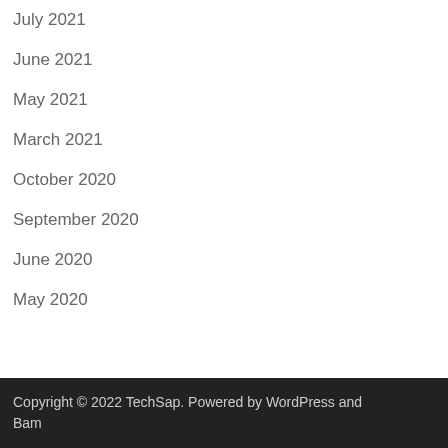July 2021
June 2021
May 2021
March 2021
October 2020
September 2020
June 2020
May 2020
Copyright © 2022 TechSap. Powered by WordPress and Bam